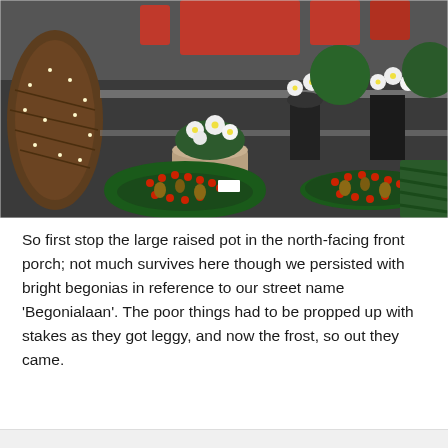[Figure (photo): A flower market or garden shop display featuring Christmas wreaths decorated with red berries and pine cones, white hellebore or Christmas rose flowers in pots, evergreen arrangements, red candles in the background, and a wicker Christmas tree with fairy lights on the left.]
So first stop the large raised pot in the north-facing front porch; not much survives here though we persisted with bright begonias in reference to our street name 'Begonialaan'. The poor things had to be propped up with stakes as they got leggy, and now the frost, so out they came.